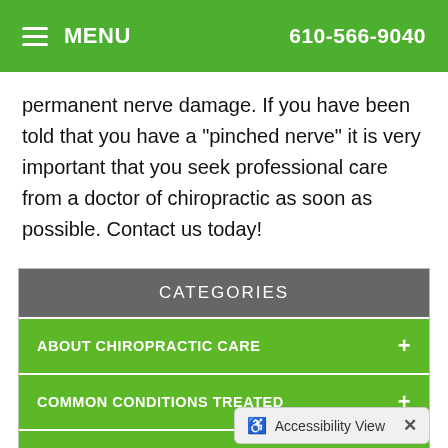MENU  610-566-9040
permanent nerve damage. If you have been told that you have a "pinched nerve" it is very important that you seek professional care from a doctor of chiropractic as soon as possible. Contact us today!
CATEGORIES
ABOUT CHIROPRACTIC CARE +
COMMON CONDITIONS TREATED +
HEALTH & WELLNESS +
THERAPIES & TECHNIQUES +
NEWSLETTER LIBRARY +